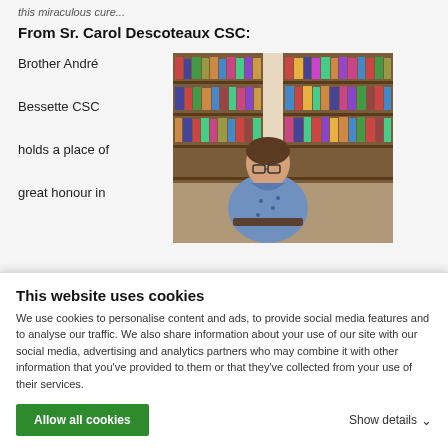this miraculous cure...
From Sr. Carol Descoteaux CSC:
Brother André Bessette CSC holds a place of great honour in
[Figure (photo): A woman with glasses sitting in a library surrounded by bookshelves filled with books and VHS tapes]
This website uses cookies
We use cookies to personalise content and ads, to provide social media features and to analyse our traffic. We also share information about your use of our site with our social media, advertising and analytics partners who may combine it with other information that you've provided to them or that they've collected from your use of their services.
Allow all cookies
Show details